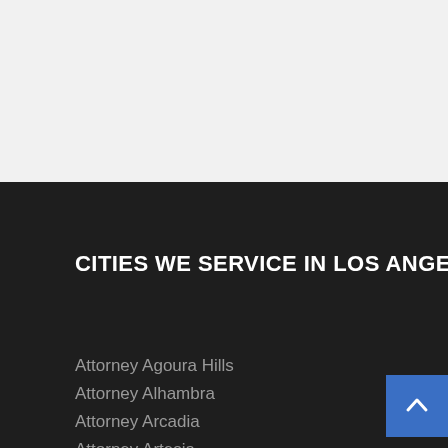CITIES WE SERVICE IN LOS ANGELES COUNTY
Attorney Agoura Hills
Attorney Alhambra
Attorney Arcadia
Attorney Artesia
Attorney Azusa
Attorney Baldwin Park